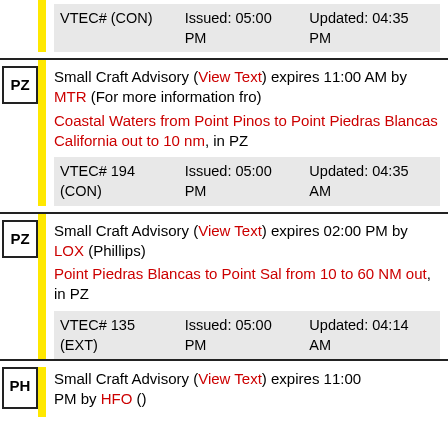(CON)   PM   PM
PZ - Small Craft Advisory (View Text) expires 11:00 AM by MTR (For more information fro) - Coastal Waters from Point Pinos to Point Piedras Blancas California out to 10 nm, in PZ - VTEC# 194 (CON) Issued: 05:00 PM Updated: 04:35 AM
PZ - Small Craft Advisory (View Text) expires 02:00 PM by LOX (Phillips) - Point Piedras Blancas to Point Sal from 10 to 60 NM out, in PZ - VTEC# 135 (EXT) Issued: 05:00 PM Updated: 04:14 AM
PH - Small Craft Advisory (View Text) expires 11:00 PM by HFO ()